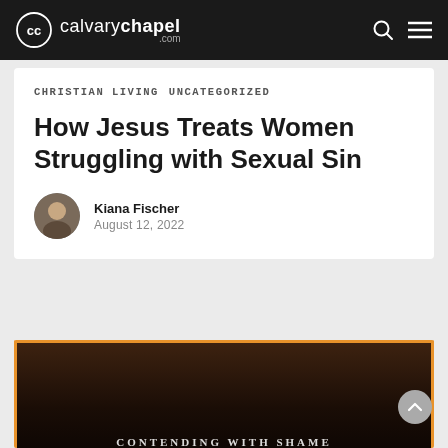calvarychapel.com — navigation bar with logo, search icon, and menu icon
Christian Living   Uncategorized
How Jesus Treats Women Struggling with Sexual Sin
Kiana Fischer
August 12, 2022
[Figure (photo): Dark moody photograph with orange border, partial text 'CONTENDING WITH SHAME' visible at bottom]